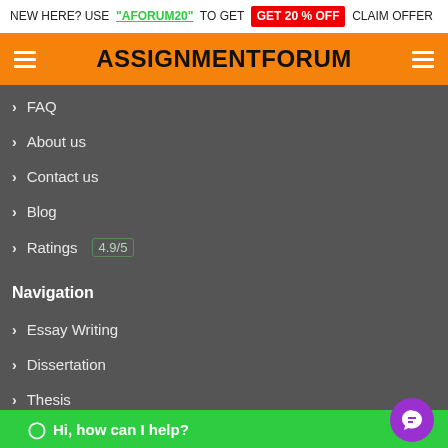NEW HERE? USE "AFORUM20" TO GET GET 20 % OFF CLAIM OFFER
ASSIGNMENTFORUM
FAQ
About us
Contact us
Blog
Ratings 4.9/5
Navigation
Essay Writing
Dissertation
Thesis
Case Study
Research
Hi, how can I help?